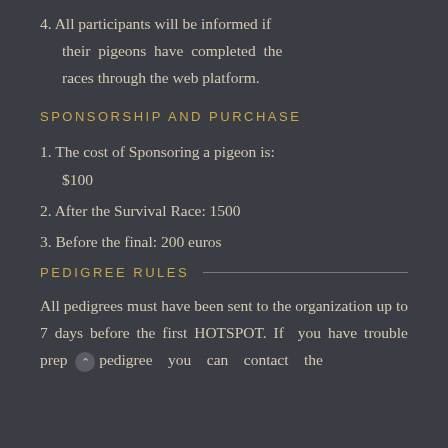4. All participants will be informed if their pigeons have completed the races through the web platform.
SPONSORSHIP AND PURCHASE
1. The cost of Sponsoring a pigeon is: $100
2. After the Survival Race: 1500
3. Before the final: 200 euros
PEDIGREE RULES
All pedigrees must have been sent to the organization up to 7 days before the first HOTSPOT. If you have trouble prep pedigree you can contact the